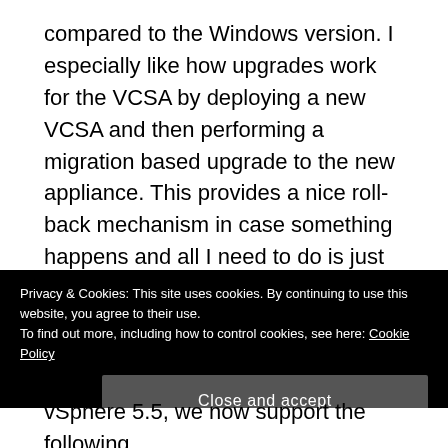compared to the Windows version. I especially like how upgrades work for the VCSA by deploying a new VCSA and then performing a migration based upgrade to the new appliance. This provides a nice roll-back mechanism in case something happens and all I need to do is just power on the original VCSA to get the original environment up and running again.
Having said all this, I know the VCSA is still currently lacking a few features which may prevent customers from fully adopting the solution for their production
Privacy & Cookies: This site uses cookies. By continuing to use this website, you agree to their use.
To find out more, including how to control cookies, see here: Cookie Policy
Close and accept
vSphere 5.5, we now support the following